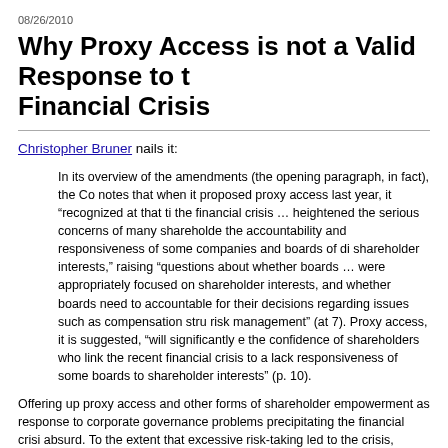08/26/2010
Why Proxy Access is not a Valid Response to the Financial Crisis
Christopher Bruner nails it:
In its overview of the amendments (the opening paragraph, in fact), the Co notes that when it proposed proxy access last year, it “recognized at that ti the financial crisis … heightened the serious concerns of many shareholde the accountability and responsiveness of some companies and boards of di shareholder interests,” raising “questions about whether boards … were appropriately focused on shareholder interests, and whether boards need to accountable for their decisions regarding issues such as compensation stru risk management” (at 7). Proxy access, it is suggested, “will significantly e the confidence of shareholders who link the recent financial crisis to a lac responsiveness of some boards to shareholder interests” (p. 10).
Offering up proxy access and other forms of shareholder empowerment as response to corporate governance problems precipitating the financial crisi absurd. To the extent that excessive risk-taking led to the crisis, reforms li access – aiming to empower the corporate constituency whose incentives a skewed toward greater risk – simply don’t add up. As I discuss in a recent examining U.S. and U.K. corporate governance crisis responses, the fact th greater governance power of U.K. shareholders appears to have done little mitigate the (very similar) crisis over there ought to give pause to those su that augmenting shareholder powers will prevent future crises over here. M